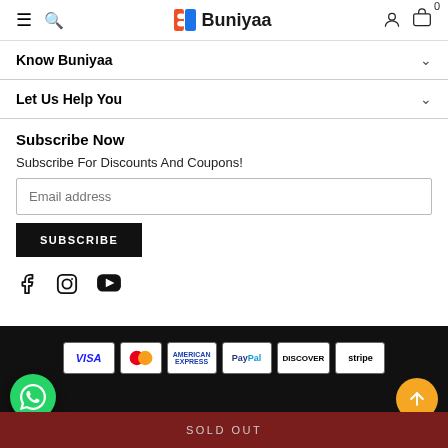Buniyaa — navigation header with menu, search, account, cart (0)
Know Buniyaa
Let Us Help You
Subscribe Now
Subscribe For Discounts And Coupons!
Email address
SUBSCRIBE
[Figure (other): Social media icons: Facebook, Instagram, YouTube]
Payment icons: VISA, Mastercard, American Express, PayPal, Discover, Stripe. WhatsApp button. Scroll-to-top button. SOLD OUT button.